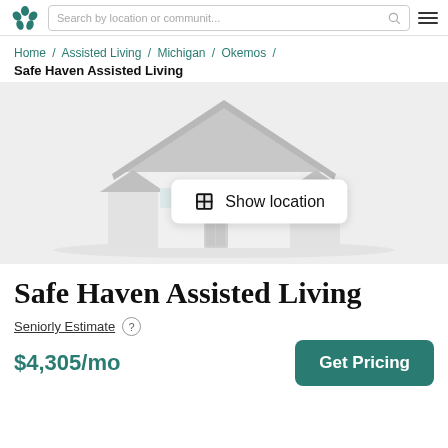Search by location or communit...
Home / Assisted Living / Michigan / Okemos / Safe Haven Assisted Living
[Figure (illustration): A simplified house illustration with grey roof, white walls, on a light grey background with a 'Show location' button overlay.]
Safe Haven Assisted Living
Seniorly Estimate ? $4,305/mo
Get Pricing